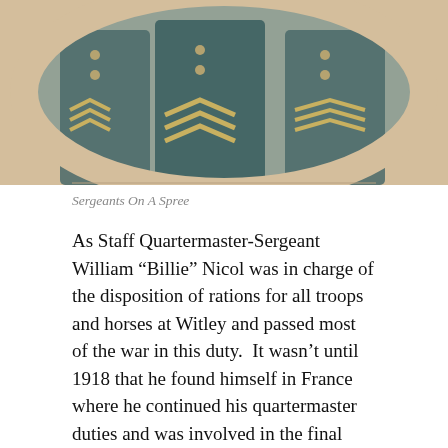[Figure (photo): Sepia-toned oval portrait photograph of military sergeants in uniform showing chevron rank insignia, cropped at top]
Sergeants On A Spree
As Staff Quartermaster-Sergeant William “Billie” Nicol was in charge of the disposition of rations for all troops and horses at Witley and passed most of the war in this duty.  It wasn’t until 1918 that he found himself in France where he continued his quartermaster duties and was involved in the final push, as it was called, at the Somme.
Aside from the occasional bombing run by German planes the greatest danger William